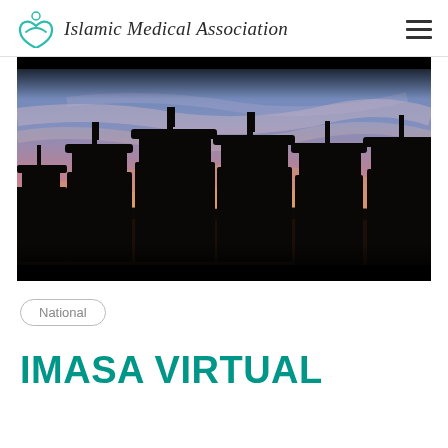Islamic Medical Association
[Figure (photo): Silhouette of graduation cap-wearing students against a dramatic sunset sky with pink, orange, and blue hues. Multiple graduates visible from behind wearing mortarboards with tassels.]
National
IMASA VIRTUAL